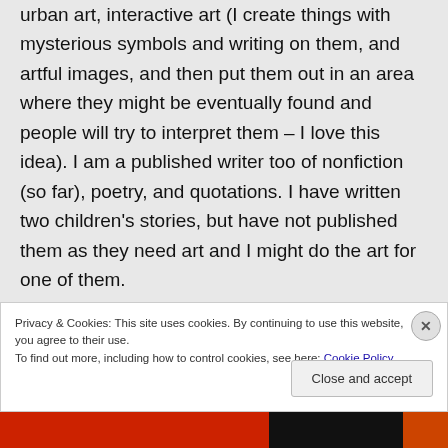urban art, interactive art (I create things with mysterious symbols and writing on them, and artful images, and then put them out in an area where they might be eventually found and people will try to interpret them – I love this idea). I am a published writer too of nonfiction (so far), poetry, and quotations. I have written two children's stories, but have not published them as they need art and I might do the art for one of them.
Privacy & Cookies: This site uses cookies. By continuing to use this website, you agree to their use. To find out more, including how to control cookies, see here: Cookie Policy